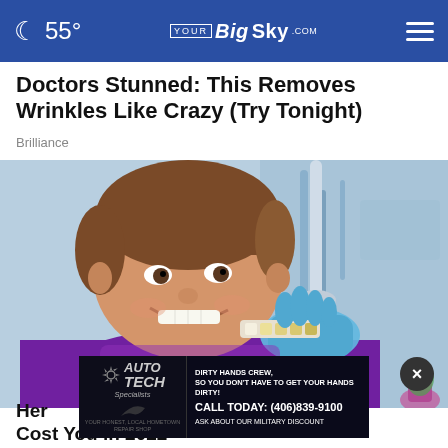55° YourBigSky.com
Doctors Stunned: This Removes Wrinkles Like Crazy (Try Tonight)
Brilliance
[Figure (photo): A smiling young boy at a dental clinic with a purple bib, a gloved hand holding a tooth shade guide near his face, dental equipment visible in the background]
Here... Cost You in 2022
[Figure (advertisement): Auto Tech Specialists ad: Dirty Hands Crew, so you don't have to get your hands dirty! Call Today: (406)839-9100. Ask about our military discount. Your honest, local hometown repair shop.]